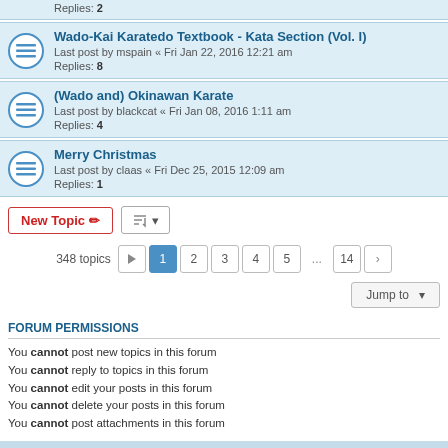Replies: 2
Wado-Kai Karatedo Textbook - Kata Section (Vol. I)
Last post by mspain « Fri Jan 22, 2016 12:21 am
Replies: 8
(Wado and) Okinawan Karate
Last post by blackcat « Fri Jan 08, 2016 1:11 am
Replies: 4
Merry Christmas
Last post by claas « Fri Dec 25, 2015 12:09 am
Replies: 1
New Topic | Sort | 348 topics | 1 2 3 4 5 ... 14 >
Jump to
FORUM PERMISSIONS
You cannot post new topics in this forum
You cannot reply to topics in this forum
You cannot edit your posts in this forum
You cannot delete your posts in this forum
You cannot post attachments in this forum
Board index | Delete cookies | All times are UTC
Powered by phpBB® Forum Software © phpBB Limited